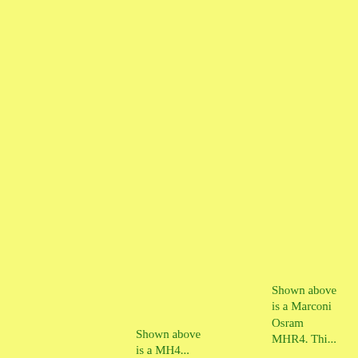Shown above is a MH4...
Shown above is a Marconi Osram MHR4. Thi...